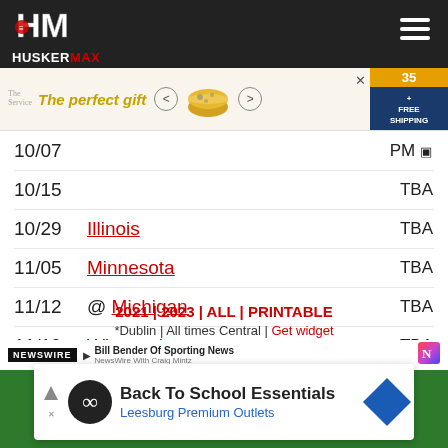[Figure (logo): HuskerMax logo with football helmet and block letters HM on dark background header bar]
[Figure (other): Advertisement banner: The perfect gift with popcorn bowl image, navigation arrows, free shipping badge]
| Date | Opponent | Time |
| --- | --- | --- |
| 10/07 |  | PM |
| 10/15 |  | TBA |
| 10/29 | Illinois | TBA |
| 11/05 | Minnesota | TBA |
| 11/12 | @ Michigan | TBA |
| 11/19 | Wisconsin | TBA |
| 11/25 | @ Iowa | 3:00 PM |
2021 | 2023 | ALL | PRINTABLE
*Dublin | All times Central | Get widget
[Figure (screenshot): Video player showing NEWSWIRE with Bill Bender Of Sporting News, NewsWire With Craig Mintz, green background with person visible]
[Figure (other): Back To School Essentials - Leesburg Premium Outlets advertisement with infinity logo]